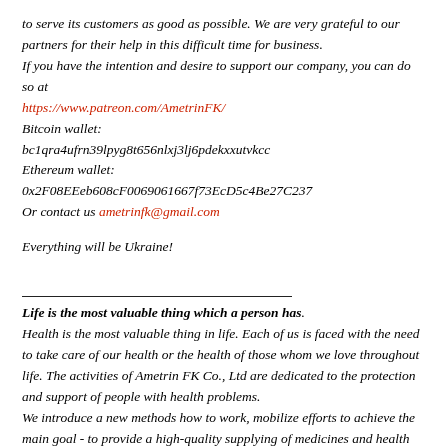to serve its customers as good as possible. We are very grateful to our partners for their help in this difficult time for business.
If you have the intention and desire to support our company, you can do so at https://www.patreon.com/AmetrinFK/
Bitcoin wallet: bc1qra4ufrn39lpyg8t656nlxj3lj6pdekxxutvkcc
Ethereum wallet: 0x2F08EEeb608cF0069061667f73EcD5c4Be27C237
Or contact us ametrinfk@gmail.com
Everything will be Ukraine!
Life is the most valuable thing which a person has. Health is the most valuable thing in life. Each of us is faced with the need to take care of our health or the health of those whom we love throughout life. The activities of Ametrin FK Co., Ltd are dedicated to the protection and support of people with health problems. We introduce a new methods how to work, mobilize efforts to achieve the main goal - to provide a high-quality supplying of medicines and health products to those who need it.